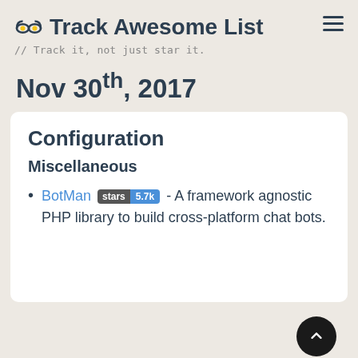Track Awesome List // Track it, not just star it.
Nov 30th, 2017
Configuration
Miscellaneous
BotMan stars 5.7k - A framework agnostic PHP library to build cross-platform chat bots.